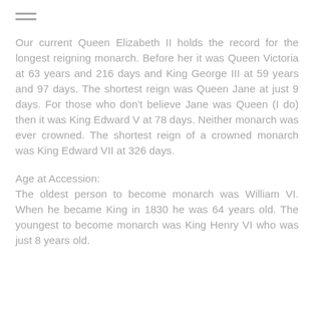[Figure (other): Hamburger menu icon (three horizontal lines)]
Our current Queen Elizabeth II holds the record for the longest reigning monarch. Before her it was Queen Victoria at 63 years and 216 days and King George III at 59 years and 97 days. The shortest reign was Queen Jane at just 9 days. For those who don't believe Jane was Queen (I do) then it was King Edward V at 78 days. Neither monarch was ever crowned. The shortest reign of a crowned monarch was King Edward VII at 326 days.
Age at Accession:
The oldest person to become monarch was William VI. When he became King in 1830 he was 64 years old. The youngest to become monarch was King Henry VI who was just 8 years old.